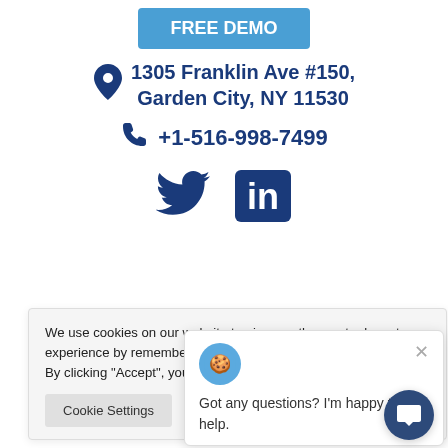[Figure (other): Blue button labeled FREE DEMO]
1305 Franklin Ave #150, Garden City, NY 11530
+1-516-998-7499
[Figure (other): Twitter bird icon and LinkedIn icon]
We use cookies on our website to give you the most relevant experience by remembering your preferences and repeat visits. By clicking “Accept”, you consent to the use of ALL the cookies.
Cookie Settings
Accept
Got any questions? I'm happy to help.